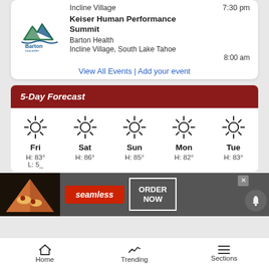Incline Village   7:30 pm
Keiser Human Performance Summit
Barton Health
Incline Village, South Lake Tahoe
8:00 am
View All Events | Add your event
5-Day Forecast
[Figure (infographic): 5-Day weather forecast showing sun icons for Fri, Sat, Sun, Mon, Tue with high/low temperatures. Fri H:83° L:5_, Sat H:86°, Sun H:85°, Mon H:82°, Tue H:83°]
[Figure (photo): Seamless food delivery advertisement banner with pizza image, Seamless logo, and ORDER NOW button]
Home   Trending   Sections